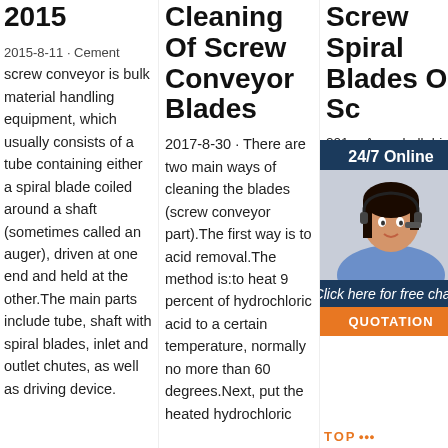2015
2015-8-11 · Cement screw conveyor is bulk material handling equipment, which usually consists of a tube containing either a spiral blade coiled around a shaft (sometimes called an auger), driven at one end and held at the other.The main parts include tube, shaft with spiral blades, inlet and outlet chutes, as well as driving device.
Cleaning Of Screw Conveyor Blades
2017-8-30 · There are two main ways of cleaning the blades (screw conveyor part).The first way is to acid removal.The method is:to heat 9 percent of hydrochloric acid to a certain temperature, normally no more than 60 degrees.Next, put the heated hydrochloric
Screw Spiral Blades Of Sc
[Figure (infographic): Live chat widget showing a customer service representative wearing a headset, with 24/7 Online header, 'Click here for free chat!' text, and an orange QUOTATION button.]
201… Arc… ball driv… the s… the a… bla… spira… spiral bevel gears, ….  » More detailed… SCREW CONVEYOR. – Bienvenido al OpenCourseWare de